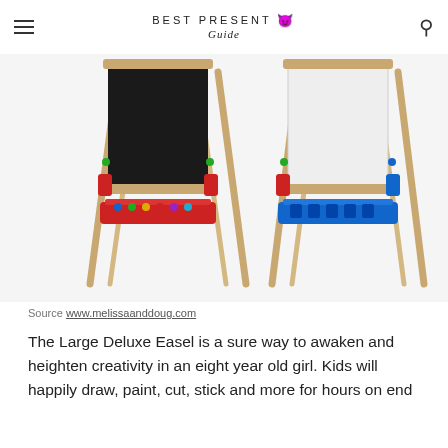BEST PRESENT Guide
[Figure (photo): Two wooden art easels side by side. Left easel shows a chalkboard (black) surface with a red supply tray. Right easel shows a whiteboard surface with a blue supply tray. Both have natural wood A-frame legs.]
Source www.melissaanddoug.com
The Large Deluxe Easel is a sure way to awaken and heighten creativity in an eight year old girl. Kids will happily draw, paint, cut, stick and more for hours on end